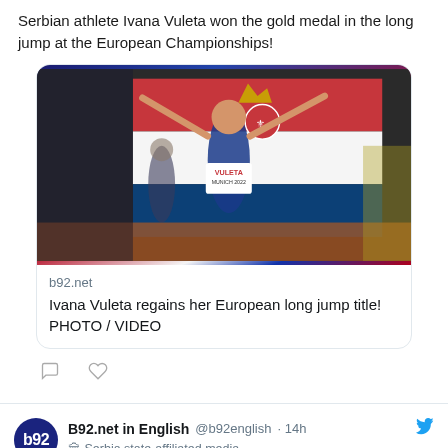Serbian athlete Ivana Vuleta won the gold medal in the long jump at the European Championships!
[Figure (photo): Photo of Ivana Vuleta celebrating at European Championships Munich 2022, holding Serbian flag overhead, wearing VULETA bib number]
b92.net
Ivana Vuleta regains her European long jump title! PHOTO / VIDEO
B92.net in English @b92english · 14h
Serbia state-affiliated media
b92.net/eng/news/polit